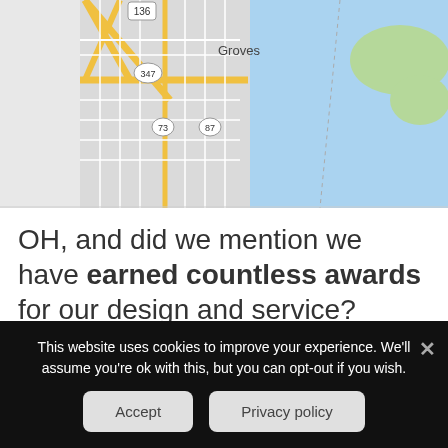[Figure (map): Google-style road map showing Groves area in Texas with roads labeled 136, 347, 73, 87, yellow roads on grey grid, blue water body to the right, green land areas]
OH, and did we mention we have earned countless awards for our design and service?
Let us help you decide what Bridge City Texas
This website uses cookies to improve your experience. We'll assume you're ok with this, but you can opt-out if you wish.
Accept
Privacy policy